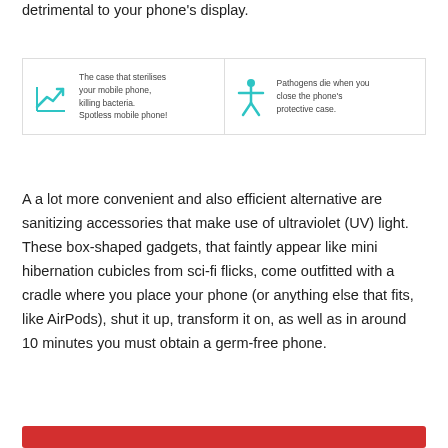detrimental to your phone's display.
[Figure (infographic): Two-panel infographic. Left panel: teal trending-up chart icon with text 'The case that sterilises your mobile phone, killing bacteria. Spotless mobile phone!' Right panel: teal person icon with text 'Pathogens die when you close the phone's protective case.']
A a lot more convenient and also efficient alternative are sanitizing accessories that make use of ultraviolet (UV) light. These box-shaped gadgets, that faintly appear like mini hibernation cubicles from sci-fi flicks, come outfitted with a cradle where you place your phone (or anything else that fits, like AirPods), shut it up, transform it on, as well as in around 10 minutes you must obtain a germ-free phone.
[Figure (other): Red horizontal bar/button at bottom of page]